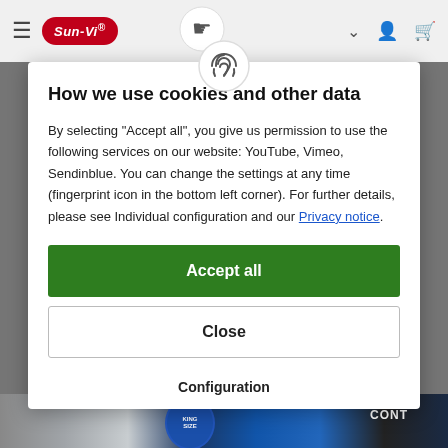[Figure (screenshot): Website navigation bar with hamburger menu, Sun-Vi logo (red oval), fingerprint icon in center circle, dropdown chevron, user icon, and cart icon]
How we use cookies and other data
By selecting "Accept all", you give us permission to use the following services on our website: YouTube, Vimeo, Sendinblue. You can change the settings at any time (fingerprint icon in the bottom left corner). For further details, please see Individual configuration and our Privacy notice.
Accept all
Close
Configuration
[Figure (photo): Product packaging strip at the bottom of the page showing cigarette/tobacco products with King Size label and CONT text visible]